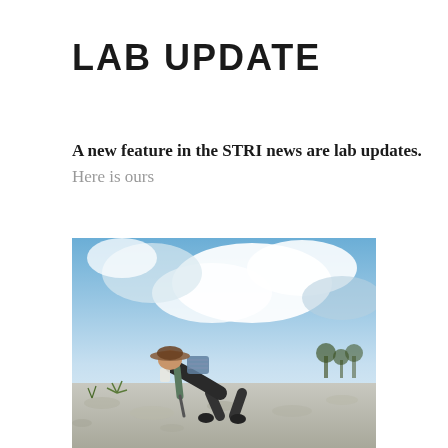LAB UPDATE
A new feature in the STRI news are lab updates. Here is ours
[Figure (photo): A researcher bending over to work on rocky/gravelly ground under a partly cloudy blue sky, wearing a hat, dark shirt, and shorts, carrying a bag and equipment. Sparse low plants visible on the rocky terrain with trees in the background.]